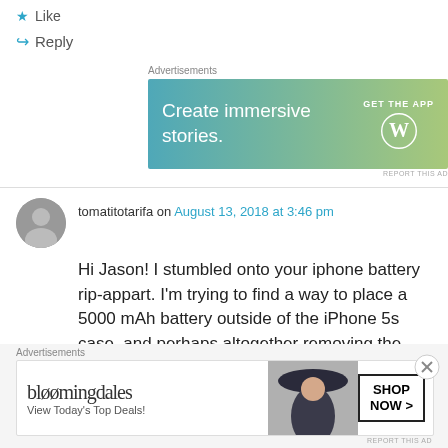★ Like
↪ Reply
Advertisements
[Figure (illustration): WordPress advertisement banner: 'Create immersive stories. GET THE APP' with WordPress logo on gradient background]
REPORT THIS AD
tomatitotarifa on August 13, 2018 at 3:46 pm
Hi Jason! I stumbled onto your iphone battery rip-appart. I'm trying to find a way to place a 5000 mAh battery outside of the iPhone 5s case, and perhaps altogether removing the internal one if needed.
Advertisements
[Figure (illustration): Bloomingdales advertisement: 'bloomingdales View Today's Top Deals! SHOP NOW >' with woman in hat photo]
REPORT THIS AD